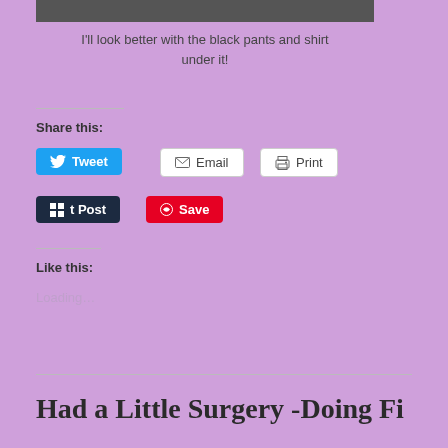[Figure (photo): Partial photo strip at top of page showing dark clothing]
I'll look better with the black pants and shirt under it!
Share this:
Tweet
Email
Print
Post
Save
Like this:
Loading...
Had a Little Surgery -Doing Fi